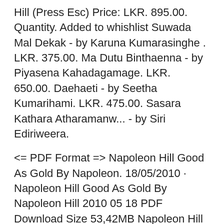Hill (Press Esc) Price: LKR. 895.00. Quantity. Added to whishlist Suwada Mal Dekak - by Karuna Kumarasinghe . LKR. 375.00. Ma Dutu Binthaenna - by Piyasena Kahadagamage. LKR. 650.00. Daehaeti - by Seetha Kumarihami. LKR. 475.00. Sasara Kathara Atharamanw... - by Siri Ediriweera.
<= PDF Format => Napoleon Hill Good As Gold By Napoleon. 18/05/2010 · Napoleon Hill Good As Gold By Napoleon Hill 2010 05 18 PDF Download Size 53,42MB Napoleon Hill Good As Gold By Napoleon Hill 2010 05 18 PDF Download, Good as Gold by Napoleon Hill, 9788184951868, available at Book Depository with free delivery